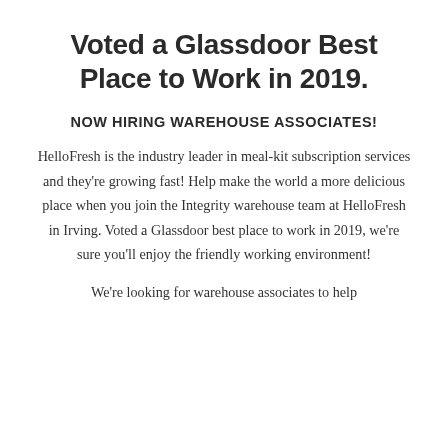Voted a Glassdoor Best Place to Work in 2019.
NOW HIRING WAREHOUSE ASSOCIATES!
HelloFresh is the industry leader in meal-kit subscription services and they’re growing fast! Help make the world a more delicious place when you join the Integrity warehouse team at HelloFresh in Irving. Voted a Glassdoor best place to work in 2019, we’re sure you’ll enjoy the friendly working environment!
We’re looking for warehouse associates to help